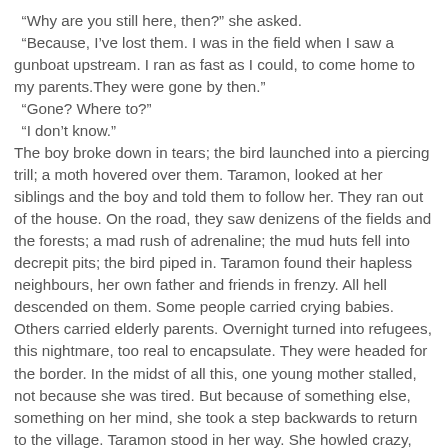“Why are you still here, then?” she asked. “Because, I’ve lost them. I was in the field when I saw a gunboat upstream. I ran as fast as I could, to come home to my parents.They were gone by then.” “Gone? Where to?” “I don’t know.” The boy broke down in tears; the bird launched into a piercing trill; a moth hovered over them. Taramon, looked at her siblings and the boy and told them to follow her. They ran out of the house. On the road, they saw denizens of the fields and the forests; a mad rush of adrenaline; the mud huts fell into decrepit pits; the bird piped in. Taramon found their hapless neighbours, her own father and friends in frenzy. All hell descended on them. Some people carried crying babies. Others carried elderly parents. Overnight turned into refugees, this nightmare, too real to encapsulate. They were headed for the border. In the midst of all this, one young mother stalled, not because she was tired. But because of something else, something on her mind, she took a step backwards to return to the village. Taramon stood in her way. She howled crazy, like the monsoon wild winds over the swollen, serpentine river stream.